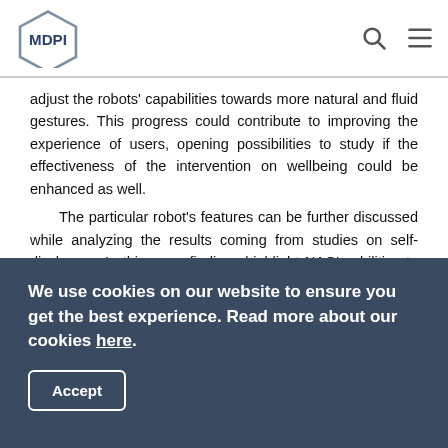MDPI
adjust the robots' capabilities towards more natural and fluid gestures. This progress could contribute to improving the experience of users, opening possibilities to study if the effectiveness of the intervention on wellbeing could be enhanced as well.
The particular robot's features can be further discussed while analyzing the results coming from studies on self-disclosure. In this area, findings highlight NAO's abilities to elicit the target dimension (i.e., self-disclosure), but less effectively than a human operator [40]. In particular, the embodiment factor is an important feature in eliciting and influencing the quantity and quality of self-disclosure. In general, during spontaneous
We use cookies on our website to ensure you get the best experience. Read more about our cookies here.
Accept